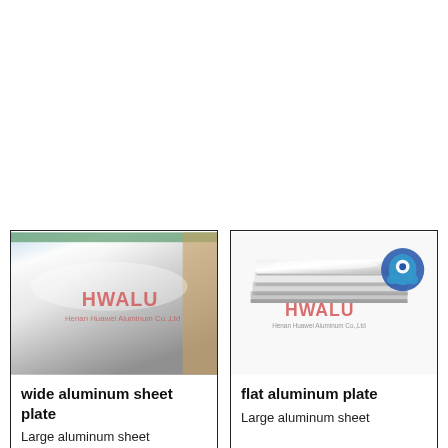[Figure (photo): Photo of wide aluminum sheet plate with HWALU branding, showing a shiny metallic surface stacked sheets]
wide aluminum sheet plate
Large aluminum sheet
[Figure (photo): Photo of flat aluminum plate stack with HWALU branding and teal logo icon, rendered product image]
flat aluminum plate
Large aluminum sheet